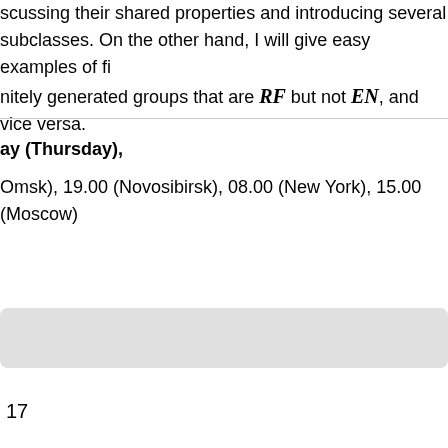scussing their shared properties and introducing several subclasses. On the other hand, I will give easy examples of finitely generated groups that are RF but not EN, and vice versa.
ay (Thursday),
Omsk), 19.00 (Novosibirsk), 08.00 (New York), 15.00 (Moscow)
17